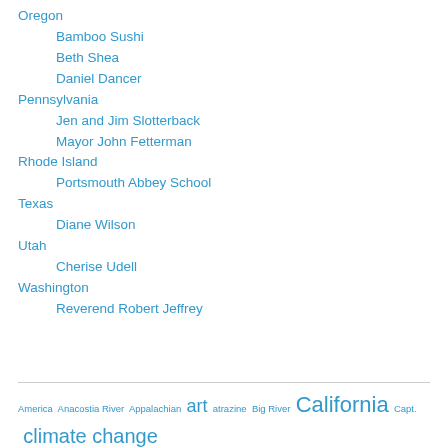Oregon
Bamboo Sushi
Beth Shea
Daniel Dancer
Pennsylvania
Jen and Jim Slotterback
Mayor John Fetterman
Rhode Island
Portsmouth Abbey School
Texas
Diane Wilson
Utah
Cherise Udell
Washington
Reverend Robert Jeffrey
America Anacostia River Appalachian art atrazine Big River California Capt. climate change ...